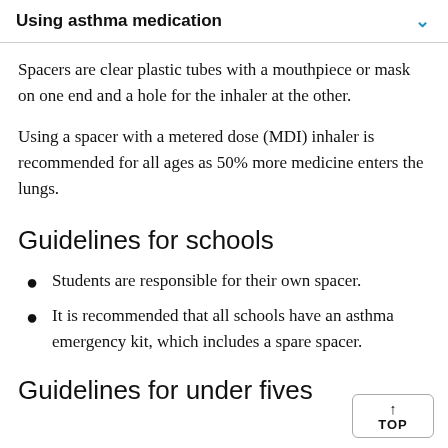Using asthma medication
Spacers are clear plastic tubes with a mouthpiece or mask on one end and a hole for the inhaler at the other.
Using a spacer with a metered dose (MDI) inhaler is recommended for all ages as 50% more medicine enters the lungs.
Guidelines for schools
Students are responsible for their own spacer.
It is recommended that all schools have an asthma emergency kit, which includes a spare spacer.
Guidelines for under fives